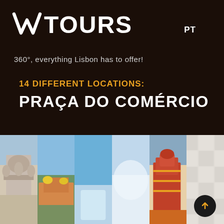[Figure (logo): VR Tours logo in white on dark brown background, with 'PT' country label on the right]
360°, everything Lisbon has to offer!
14 DIFFERENT LOCATIONS:
PRAÇA DO COMÉRCIO
[Figure (photo): Strip of 5 photos showing Lisbon landmarks: ornate stone arch/monument detail, Pena Palace with yellow domes, blue sky with castle, soft blurred light background, red ornate tower detail, close-up of patterned tile/cobblestone]